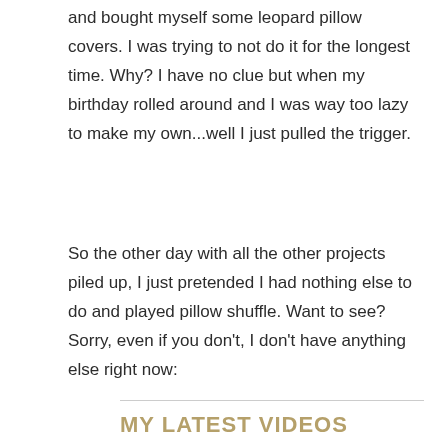and bought myself some leopard pillow covers. I was trying to not do it for the longest time. Why? I have no clue but when my birthday rolled around and I was way too lazy to make my own...well I just pulled the trigger.
So the other day with all the other projects piled up, I just pretended I had nothing else to do and played pillow shuffle. Want to see? Sorry, even if you don't, I don't have anything else right now:
MY LATEST VIDEOS
[Figure (other): Loading ad placeholder box in gray]